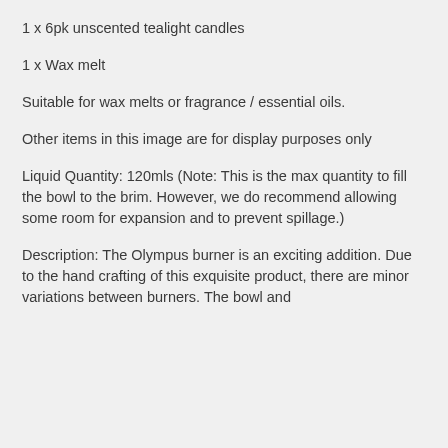1 x 6pk unscented tealight candles
1 x Wax melt
Suitable for wax melts or fragrance / essential oils.
Other items in this image are for display purposes only
Liquid Quantity: 120mls (Note: This is the max quantity to fill the bowl to the brim. However, we do recommend allowing some room for expansion and to prevent spillage.)
Description: The Olympus burner is an exciting addition. Due to the hand crafting of this exquisite product, there are minor variations between burners. The bowl and